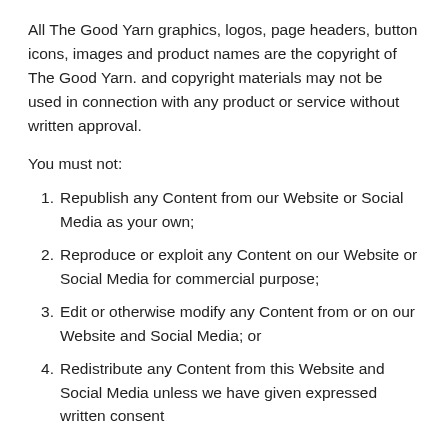All The Good Yarn graphics, logos, page headers, button icons, images and product names are the copyright of The Good Yarn. and copyright materials may not be used in connection with any product or service without written approval.
You must not:
Republish any Content from our Website or Social Media as your own;
Reproduce or exploit any Content on our Website or Social Media for commercial purpose;
Edit or otherwise modify any Content from or on our Website and Social Media; or
Redistribute any Content from this Website and Social Media unless we have given expressed written consent